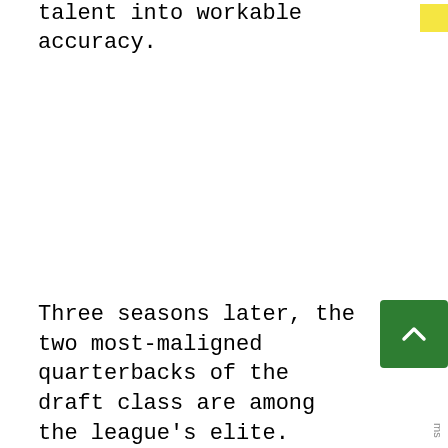talent into workable accuracy.
Three seasons later, the two most-maligned quarterbacks of the draft class are among the league's elite. Former MVP Jackson shook off accusations that his stuff wouldn't work in the postseason as the Ravens handled the Titans in